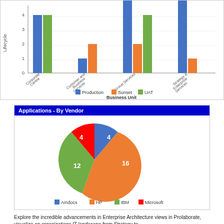[Figure (grouped-bar-chart): ]
[Figure (pie-chart): Applications - By Vendor]
Explore the incredible advancements in Enterprise Architecture views in Prolaborate, visualize an organizations IT landscape from Strategy to